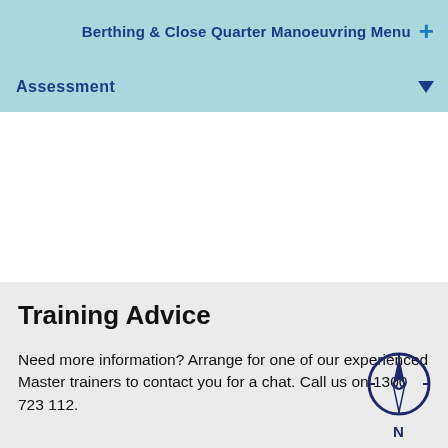Berthing & Close Quarter Manoeuvring Menu +
Assessment
Training Advice
Need more information? Arrange for one of our experienced Master trainers to contact you for a chat. Call us on 1300 723 112.
[Figure (illustration): Compass rose icon showing cardinal N direction with a north-pointing arrow, dark navy blue outline]